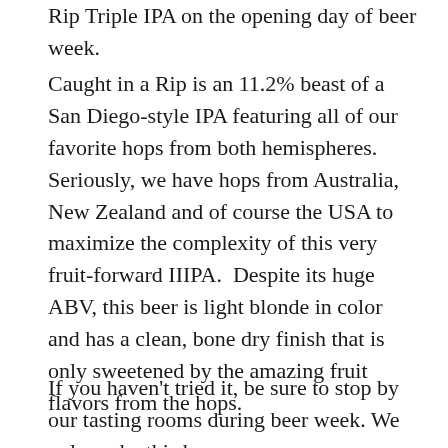Rip Triple IPA on the opening day of beer week.
Caught in a Rip is an 11.2% beast of a San Diego-style IPA featuring all of our favorite hops from both hemispheres. Seriously, we have hops from Australia, New Zealand and of course the USA to maximize the complexity of this very fruit-forward IIIPA.  Despite its huge ABV, this beer is light blonde in color and has a clean, bone dry finish that is only sweetened by the amazing fruit flavors from the hops.
If you haven't tried it, be sure to stop by our tasting rooms during beer week. We only make this beer once a year, so you don't want to miss having your